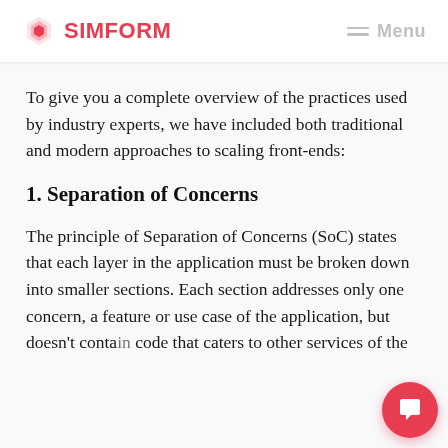SIMFORM  Menu
To give you a complete overview of the practices used by industry experts, we have included both traditional and modern approaches to scaling front-ends:
1. Separation of Concerns
The principle of Separation of Concerns (SoC) states that each layer in the application must be broken down into smaller sections. Each section addresses only one concern, a feature or use case of the application, but doesn't contain code that caters to other services of the